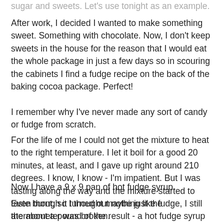sugar and sweets. Let's use tonight as an example.
After work, I decided I wanted to make something sweet. Something with chocolate. Now, I don't keep sweets in the house for the reason that I would eat the whole package in just a few days so in scouring the cabinets I find a fudge recipe on the back of the baking cocoa package. Perfect!
I remember why I've never made any sort of candy or fudge from scratch.
For the life of me I could not get the mixture to heat to the right temperature. I let it boil for a good 20 minutes, at least, and I gave up right around 210 degrees. I know, I know - I'm impatient. But I was tasting along the way and the mixture started to taste burnt, so I thought maybe just the thermometer was broken.
Now I have a 9 x 9 pan of hot fudge syrup.
Even though it turned out nothing like fudge, I still ate about a pound of the result - a hot fudge syrup of sorts. By the table...